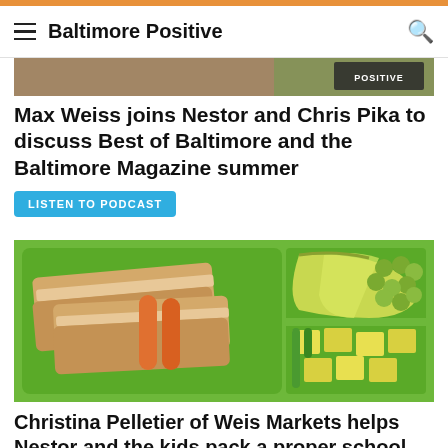Baltimore Positive
[Figure (photo): Partial top image showing people with Baltimore Positive logo badge]
Max Weiss joins Nestor and Chris Pika to discuss Best of Baltimore and the Baltimore Magazine summer
LISTEN TO PODCAST
[Figure (photo): Green lunchbox containing sandwich slices, carrots on the left side, and apple slices, grapes, cheese cubes, and cucumber sticks on the right side]
Christina Pelletier of Weis Markets helps Nestor and the kids pack a proper school lunchbox for back